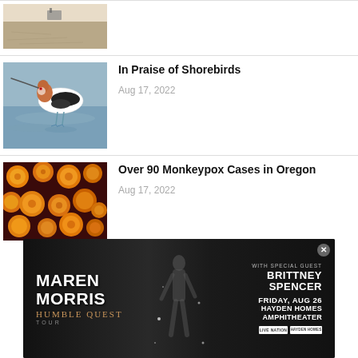[Figure (photo): Partial view of sandy beach/ground area, top of page cropped]
[Figure (photo): Shorebird (American Avocet) standing in water with reflections]
In Praise of Shorebirds
Aug 17, 2022
[Figure (photo): Close-up microscope image of monkeypox virus particles, orange/yellow on dark background]
Over 90 Monkeypox Cases in Oregon
Aug 17, 2022
[Figure (infographic): Advertisement for Maren Morris Humble Quest Tour with special guest Brittney Spencer, Friday Aug 26, Hayden Homes Amphitheater]